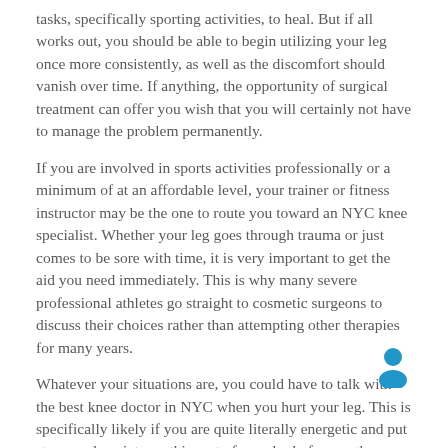tasks, specifically sporting activities, to heal. But if all works out, you should be able to begin utilizing your leg once more consistently, as well as the discomfort should vanish over time. If anything, the opportunity of surgical treatment can offer you wish that you will certainly not have to manage the problem permanently.
If you are involved in sports activities professionally or a minimum of at an affordable level, your trainer or fitness instructor may be the one to route you toward an NYC knee specialist. Whether your leg goes through trauma or just comes to be sore with time, it is very important to get the aid you need immediately. This is why many severe professional athletes go straight to cosmetic surgeons to discuss their choices rather than attempting other therapies for many years.
Whatever your situations are, you could have to talk with the best knee doctor in NYC when you hurt your leg. This is specifically likely if you are quite literally energetic and put stress and anxiety on this part of your body frequently.
[Figure (illustration): Blue person/user icon]
To know more about knee pain & treatment alternatives, head over to the official website of Pain Treatment Specialists and